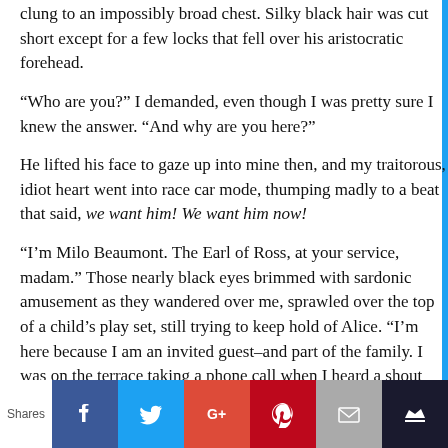clung to an impossibly broad chest. Silky black hair was cut short except for a few locks that fell over his aristocratic forehead.
“Who are you?” I demanded, even though I was pretty sure I knew the answer. “And why are you here?”
He lifted his face to gaze up into mine then, and my traitorous, idiot heart went into race car mode, thumping madly to a beat that said, we want him! We want him now!
“I’m Milo Beaumont. The Earl of Ross, at your service, madam.” Those nearly black eyes brimmed with sardonic amusement as they wandered over me, sprawled over the top of a child’s play set, still trying to keep hold of Alice. “I’m here because I am an invited guest–and part of the family. I was on the terrace taking a phone call when I heard a shout and thought someone might be in need of assistance.” He lifted one eyebrow. “Clearly, I was correct.”
Shares | Facebook | Twitter | Google+ | Pinterest | Email | Crown